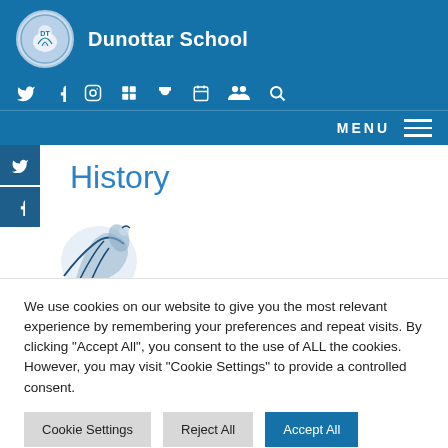Dunottar School
History
[Figure (screenshot): Partial image of school mascot/crest illustration, cropped at bottom of visible area]
We use cookies on our website to give you the most relevant experience by remembering your preferences and repeat visits. By clicking "Accept All", you consent to the use of ALL the cookies. However, you may visit "Cookie Settings" to provide a controlled consent.
Cookie Settings | Reject All | Accept All